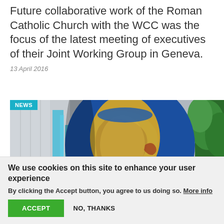Future collaborative work of the Roman Catholic Church with the WCC was the focus of the latest meeting of executives of their Joint Working Group in Geneva.
13 April 2016
[Figure (photo): Large globe showing Africa and surrounding areas, with buildings and trees in the background. A 'NEWS' badge appears in the top-left corner of the image.]
We use cookies on this site to enhance your user experience
By clicking the Accept button, you agree to us doing so. More info
ACCEPT   NO, THANKS